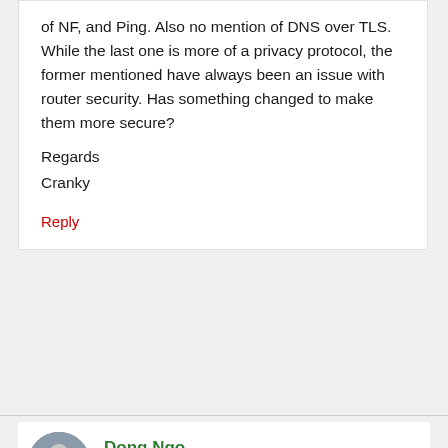of NF, and Ping. Also no mention of DNS over TLS. While the last one is more of a privacy protocol, the former mentioned have always been an issue with router security. Has something changed to make them more secure?
Regards
Cranky
Reply
Dong Ngo
Jan 28, 2022 at 8:29 pm